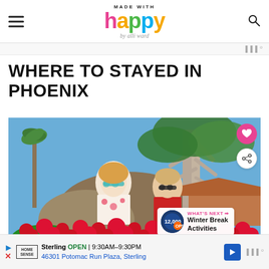MADE WITH happy by alli ward
WHERE TO STAYED IN PHOENIX
[Figure (photo): Two children wearing sunglasses standing outdoors in Phoenix, surrounded by red flowers, a large tree, desert mountain in background, blue sky]
WHAT'S NEXT → Winter Break Activities
Sterling OPEN 9:30AM–9:30PM 46301 Potomac Run Plaza, Sterling